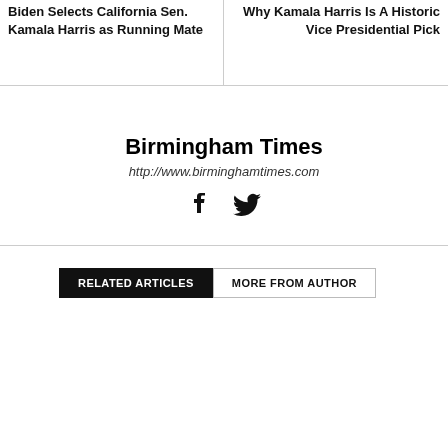Biden Selects California Sen. Kamala Harris as Running Mate
Why Kamala Harris Is A Historic Vice Presidential Pick
Birmingham Times
http://www.birminghamtimes.com
[Figure (illustration): Facebook and Twitter social media icons]
RELATED ARTICLES
MORE FROM AUTHOR